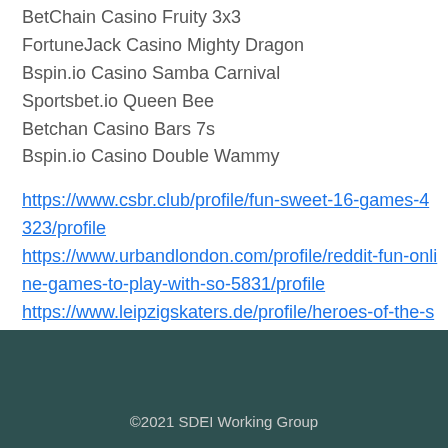BetChain Casino Fruity 3x3
FortuneJack Casino Mighty Dragon
Bspin.io Casino Samba Carnival
Sportsbet.io Queen Bee
Betchan Casino Bars 7s
Bspin.io Casino Double Wammy
https://www.csbr.club/profile/fun-sweet-16-games-4323/profile https://www.urbandlondon.com/profile/reddit-fun-online-games-to-play-with-so-5831/profile https://www.leipzigskaters.de/profile/heroes-of-the-storm-unlock-hero-rotation-slot-2044/profile https://www.rmythoughts.com/profile/grosvenor-casino-reading-south-poker-schedule-5506/profile
©2021 SDEI Working Group